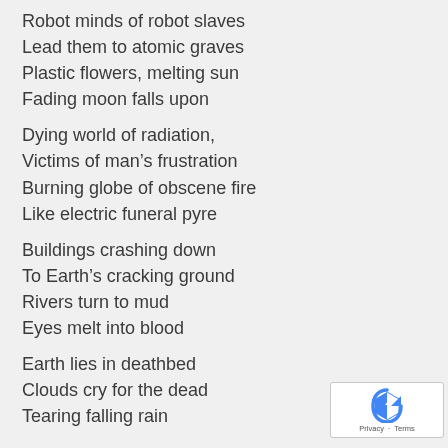Robot minds of robot slaves
Lead them to atomic graves
Plastic flowers, melting sun
Fading moon falls upon
Dying world of radiation,
Victims of man's frustration
Burning globe of obscene fire
Like electric funeral pyre
Buildings crashing down
To Earth's cracking ground
Rivers turn to mud
Eyes melt into blood
Earth lies in deathbed
Clouds cry for the dead
Tearing falling rain
[Figure (logo): Google reCAPTCHA badge with logo, Privacy and Terms links]